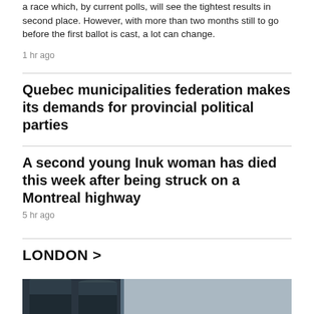a race which, by current polls, will see the tightest results in second place. However, with more than two months still to go before the first ballot is cast, a lot can change.
1 hr ago
Quebec municipalities federation makes its demands for provincial political parties
A second young Inuk woman has died this week after being struck on a Montreal highway
5 hr ago
LONDON >
[Figure (photo): Industrial silos or tanks against a grey sky]